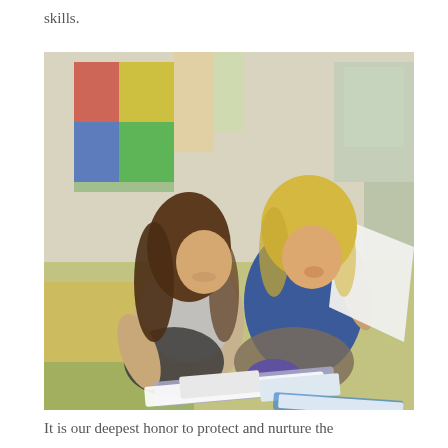skills.
[Figure (photo): A teenage girl with long brown hair and a younger blonde child sitting cross-legged on a colorful classroom floor, looking at open books together. The child holds up a white page while the older girl points at a book on the floor. Classroom with colorful posters visible in the background.]
It is our deepest honor to protect and nurture the